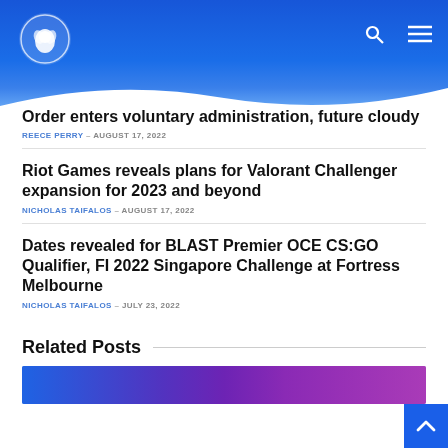Snowball Esports header with logo and navigation icons
Order enters voluntary administration, future cloudy
REECE PERRY – AUGUST 17, 2022
Riot Games reveals plans for Valorant Challenger expansion for 2023 and beyond
NICHOLAS TAIFALOS – AUGUST 17, 2022
Dates revealed for BLAST Premier OCE CS:GO Qualifier, FI 2022 Singapore Challenge at Fortress Melbourne
NICHOLAS TAIFALOS – JULY 23, 2022
Related Posts
[Figure (photo): Related post thumbnail image with blue and purple gaming artwork]